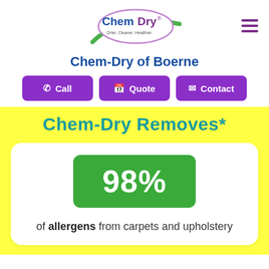[Figure (logo): Chem-Dry logo with tagline 'Drier. Cleaner. Healthier.' in an oval, with green swoosh]
Chem-Dry of Boerne
Call
Quote
Contact
Chem-Dry Removes*
98%
of allergens from carpets and upholstery